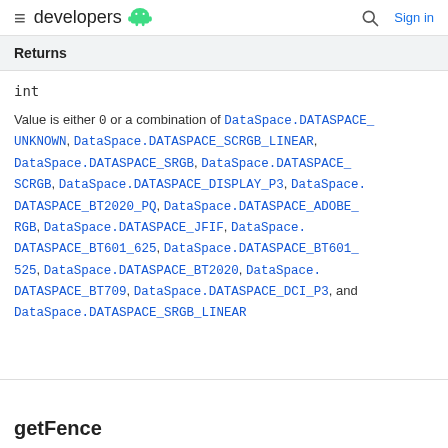developers [android logo] | Search | Sign in
Returns
int
Value is either 0 or a combination of DataSpace.DATASPACE_UNKNOWN, DataSpace.DATASPACE_SCRGB_LINEAR, DataSpace.DATASPACE_SRGB, DataSpace.DATASPACE_SCRGB, DataSpace.DATASPACE_DISPLAY_P3, DataSpace.DATASPACE_BT2020_PQ, DataSpace.DATASPACE_ADOBE_RGB, DataSpace.DATASPACE_JFIF, DataSpace.DATASPACE_BT601_625, DataSpace.DATASPACE_BT601_525, DataSpace.DATASPACE_BT2020, DataSpace.DATASPACE_BT709, DataSpace.DATASPACE_DCI_P3, and DataSpace.DATASPACE_SRGB_LINEAR
getFence